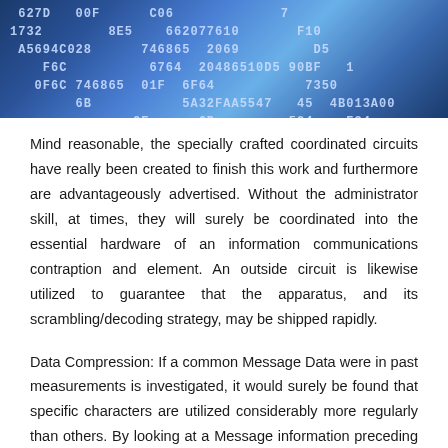[Figure (photo): A blue-toned image showing hexadecimal code numbers (1FF, 627D, 1732, A5694C028, 662077610, 746865, 6F64, 2069, 486510D5, 90BF, 5A32FAA554709, 013A00, etc.) overlaid on a digital/circuit background with a fingerprint-like pattern visible.]
Mind reasonable, the specially crafted coordinated circuits have really been created to finish this work and furthermore are advantageously advertised. Without the administrator skill, at times, they will surely be coordinated into the essential hardware of an information communications contraption and element. An outside circuit is likewise utilized to guarantee that the apparatus, and its scrambling/decoding strategy, may be shipped rapidly.
Data Compression: If a common Message Data were in past measurements is investigated, it would surely be found that specific characters are utilized considerably more regularly than others. By looking at a Message information preceding it is